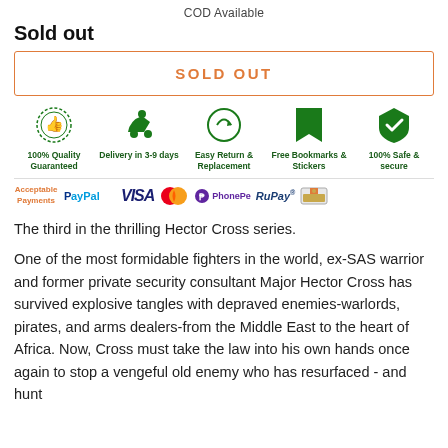COD Available
Sold out
SOLD OUT
[Figure (infographic): Trust badges row: 100% Quality Guaranteed, Delivery in 3-9 days, Easy Return & Replacement, Free Bookmarks & Stickers, 100% Safe & secure]
[Figure (infographic): Acceptable Payments row with logos: PayPal, VISA, Mastercard, PhonePe, RuPay, COD]
The third in the thrilling Hector Cross series.
One of the most formidable fighters in the world, ex-SAS warrior and former private security consultant Major Hector Cross has survived explosive tangles with depraved enemies-warlords, pirates, and arms dealers-from the Middle East to the heart of Africa. Now, Cross must take the law into his own hands once again to stop a vengeful old enemy who has resurfaced - and hunt